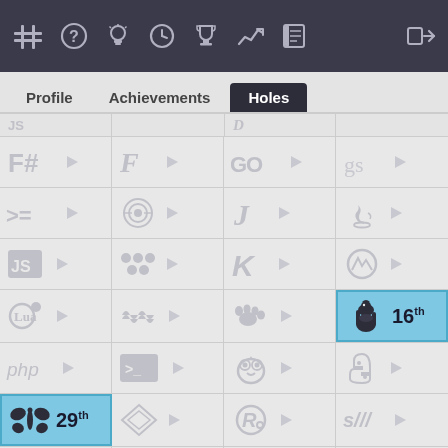Navigation bar with icons: puzzle/hash, question mark, lightbulb, clock, trophy, chart, notebook, login arrow
Profile | Achievements | Holes (active tab)
[Figure (screenshot): Grid of programming language logos with play buttons. Two highlighted cells: Perl (camel) ranked 16th in blue, and Raku (butterfly) ranked 29th in blue. Other languages include F#, Fortran, Go, GhostScript, Haskell, Icon, Java, JavaScript, Lua, Kotlin, PHP, PowerShell, Prolog, Python, Rust, SNOBOL, Swift, V, Vim, Zig.]
API • Discord • Feeds • Git • Status